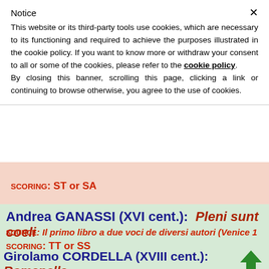Notice
This website or its third-party tools use cookies, which are necessary to its functioning and required to achieve the purposes illustrated in the cookie policy. If you want to know more or withdraw your consent to all or some of the cookies, please refer to the cookie policy.
By closing this banner, scrolling this page, clicking a link or continuing to browse otherwise, you agree to the use of cookies.
SCORING: ST or SA
Andrea GANASSI (XVI cent.):  Pleni sunt coeli
SOURCE: Il primo libro a due voci de diversi autori (Venice 1)
SCORING: TT or SS
Girolamo CORDELLA (XVIII cent.):  Romanella